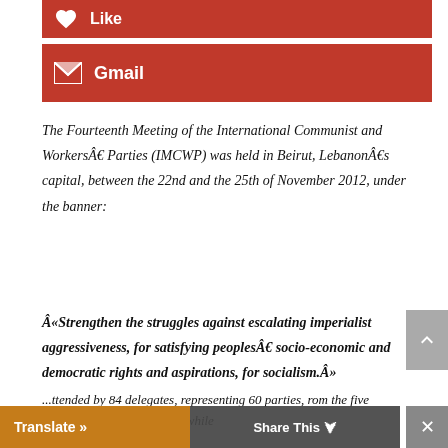[Figure (other): Red 'Like' button with heart icon]
[Figure (other): Red 'Gmail' button with envelope icon]
The Fourteenth Meeting of the International Communist and WorkersÂ' Parties (IMCWP) was held in Beirut, LebanonÂ's capital, between the 22nd and the 25th of November 2012, under the banner:
Â«Strengthen the struggles against escalating imperialist aggressiveness, for satisfying peoplesÂ' socio-economic and democratic rights and aspirations, for socialism.Â»
...ttended by 84 delegates, representing 60 parties, rom the five continents of the world. Â' while
[Figure (other): Translate bar at bottom]
[Figure (other): Share This overlay bar at bottom]
[Figure (other): Scroll to top button on right side]